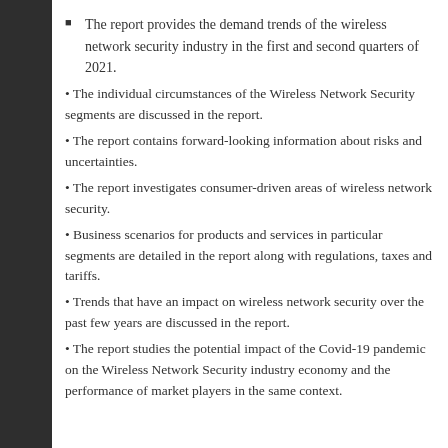The report provides the demand trends of the wireless network security industry in the first and second quarters of 2021.
• The individual circumstances of the Wireless Network Security segments are discussed in the report.
• The report contains forward-looking information about risks and uncertainties.
• The report investigates consumer-driven areas of wireless network security.
• Business scenarios for products and services in particular segments are detailed in the report along with regulations, taxes and tariffs.
• Trends that have an impact on wireless network security over the past few years are discussed in the report.
• The report studies the potential impact of the Covid-19 pandemic on the Wireless Network Security industry economy and the performance of market players in the same context.